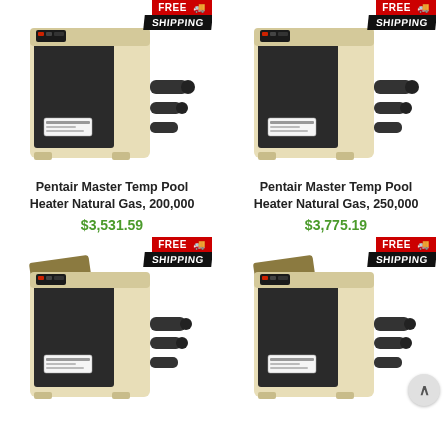[Figure (photo): Pentair Master Temp Pool Heater Natural Gas unit, beige/cream colored with dark front panel and pipes on side, Free Shipping badge in top right corner]
[Figure (photo): Pentair Master Temp Pool Heater Natural Gas unit, beige/cream colored with dark front panel and pipes on side, Free Shipping badge in top right corner]
Pentair Master Temp Pool Heater Natural Gas, 200,000
Pentair Master Temp Pool Heater Natural Gas, 250,000
$3,531.59
$3,775.19
[Figure (photo): Pentair Master Temp Pool Heater Natural Gas unit, beige/cream colored with dark front panel and pipes on side, Free Shipping badge in top right corner]
[Figure (photo): Pentair Master Temp Pool Heater Natural Gas unit, beige/cream colored with dark front panel and pipes on side, Free Shipping badge in top right corner]